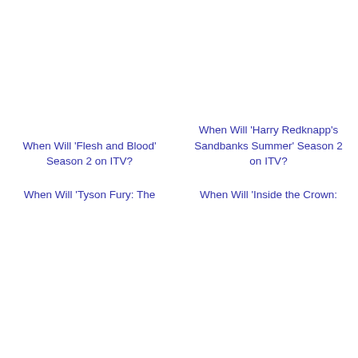When Will 'Flesh and Blood' Season 2 on ITV?
When Will 'Harry Redknapp's Sandbanks Summer' Season 2 on ITV?
When Will 'Tyson Fury: The
When Will 'Inside the Crown: